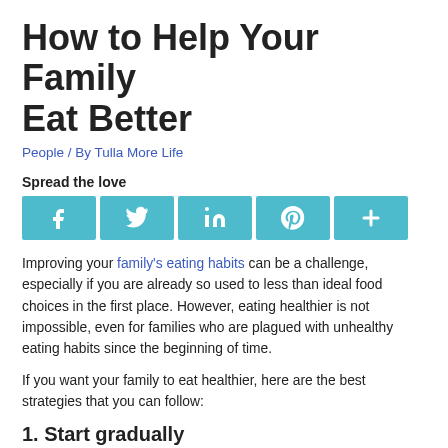How to Help Your Family Eat Better
People / By Tulla More Life
Spread the love
[Figure (infographic): Social sharing buttons: Facebook, Twitter, LinkedIn, Pinterest, More — each a teal square with white icon]
Improving your family's eating habits can be a challenge, especially if you are already so used to less than ideal food choices in the first place. However, eating healthier is not impossible, even for families who are plagued with unhealthy eating habits since the beginning of time.
If you want your family to eat healthier, here are the best strategies that you can follow:
1. Start gradually